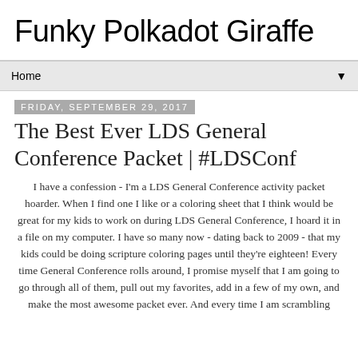Funky Polkadot Giraffe
Home
Friday, September 29, 2017
The Best Ever LDS General Conference Packet | #LDSConf
I have a confession - I'm a LDS General Conference activity packet hoarder. When I find one I like or a coloring sheet that I think would be great for my kids to work on during LDS General Conference, I hoard it in a file on my computer. I have so many now - dating back to 2009 - that my kids could be doing scripture coloring pages until they're eighteen! Every time General Conference rolls around, I promise myself that I am going to go through all of them, pull out my favorites, add in a few of my own, and make the most awesome packet ever. And every time I am scrambling